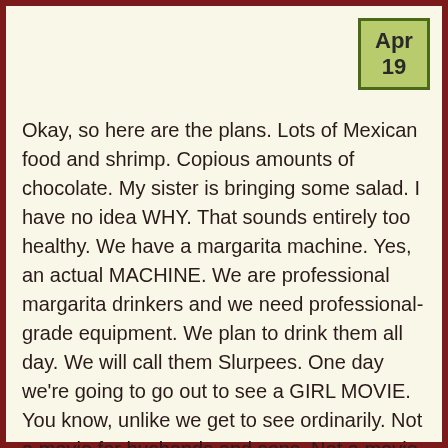Apr 19
Okay, so here are the plans. Lots of Mexican food and shrimp. Copious amounts of chocolate. My sister is bringing some salad. I have no idea WHY. That sounds entirely too healthy. We have a margarita machine. Yes, an actual MACHINE. We are professional margarita drinkers and we need professional-grade equipment. We plan to drink them all day. We will call them Slurpees. One day we're going to go out to see a GIRL MOVIE. You know, unlike we get to see ordinarily. Not a movie for husbands and sons. Not a movie for daughters. Not that kind of girl movie. The last girl movie I saw was New York Minute with the Olsen twins. I want a GROWN-UP girl movie. Any recommendations for one considered that to not right out?